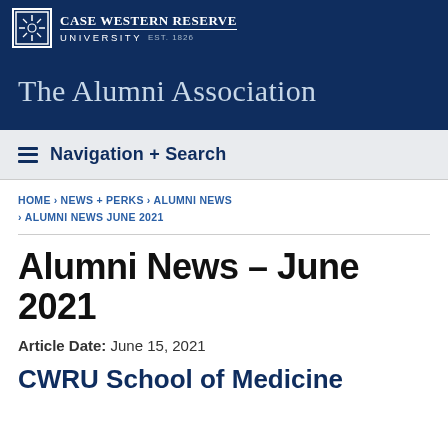Case Western Reserve University EST. 1826
The Alumni Association
Navigation + Search
HOME › NEWS + PERKS › ALUMNI NEWS › ALUMNI NEWS JUNE 2021
Alumni News – June 2021
Article Date: June 15, 2021
CWRU School of Medicine